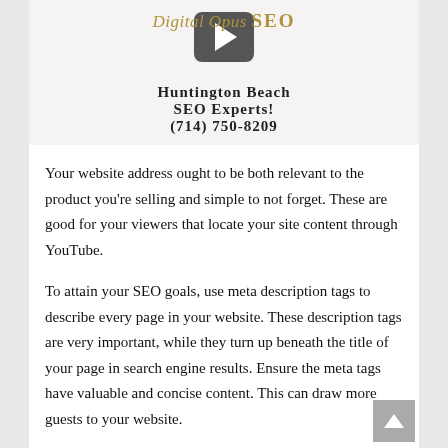[Figure (screenshot): Video thumbnail showing a YouTube-style play button over a logo for Digital Opus SEO Huntington Beach with text 'SEO Experts! (714) 750-8209']
Your website address ought to be both relevant to the product you're selling and simple to not forget. These are good for your viewers that locate your site content through YouTube.
To attain your SEO goals, use meta description tags to describe every page in your website. These description tags are very important, while they turn up beneath the title of your page in search engine results. Ensure the meta tags have valuable and concise content. This can draw more guests to your website.
Position yourself as being a specialist or expert. This is a great strategy for maximizing profits. Design your web site around a specific niche, and apply search